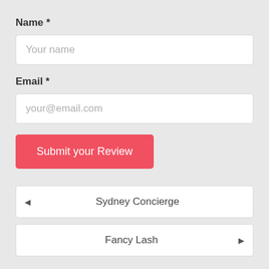Name *
Your name
Email *
your@email.com
Submit your Review
◄  Sydney Concierge
Fancy Lash  ►